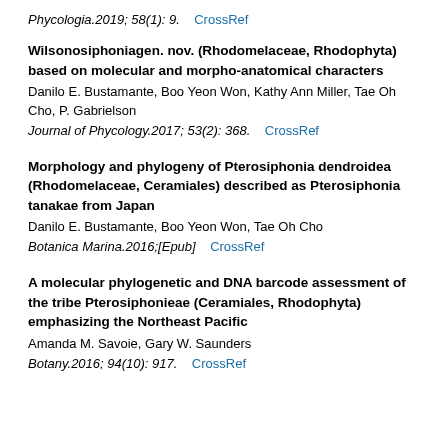Phycologia.2019; 58(1): 9.   CrossRef
Wilsonosiphoniagen. nov. (Rhodomelaceae, Rhodophyta) based on molecular and morpho-anatomical characters
Danilo E. Bustamante, Boo Yeon Won, Kathy Ann Miller, Tae Oh Cho, P. Gabrielson
Journal of Phycology.2017; 53(2): 368.   CrossRef
Morphology and phylogeny of Pterosiphonia dendroidea (Rhodomelaceae, Ceramiales) described as Pterosiphonia tanakae from Japan
Danilo E. Bustamante, Boo Yeon Won, Tae Oh Cho
Botanica Marina.2016;[Epub]   CrossRef
A molecular phylogenetic and DNA barcode assessment of the tribe Pterosiphonieae (Ceramiales, Rhodophyta) emphasizing the Northeast Pacific
Amanda M. Savoie, Gary W. Saunders
Botany.2016; 94(10): 917.   CrossRef